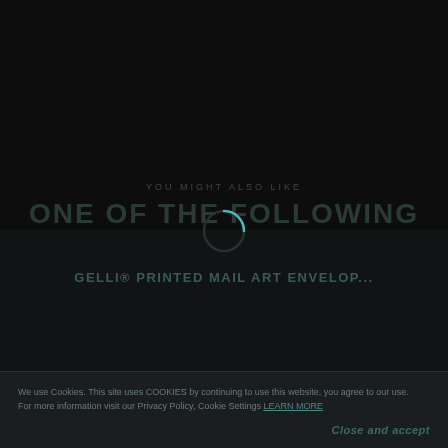YOU MIGHT ALSO LIKE
ONE OF THE FOLLOWING
[Figure (other): Circular spinner/loading icon with teal arc on dark background]
GELLIⓇ PRINTED MAIL ART ENVELOP...
We use Cookies. This site uses COOKIES by continuing to use this website, you agree to our use. For more information visit our Privacy Policy, Cookie Settings LEARN MORE
Close and accept